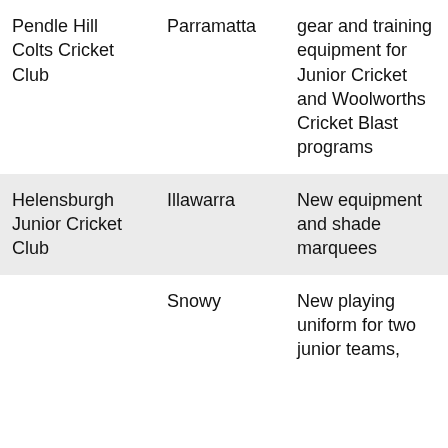| Pendle Hill Colts Cricket Club | Parramatta | gear and training equipment for Junior Cricket and Woolworths Cricket Blast programs |
| Helensburgh Junior Cricket Club | Illawarra | New equipment and shade marquees |
| Bomb... | Snowy | New playing uniform for two junior teams, |